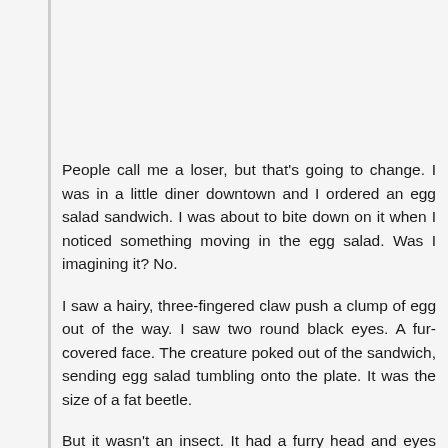People call me a loser, but that's going to change. I was in a little diner downtown and I ordered an egg salad sandwich. I was about to bite down on it when I noticed something moving in the egg salad. Was I imagining it? No.
I saw a hairy, three-fingered claw push a clump of egg out of the way. I saw two round black eyes. A fur-covered face. The creature poked out of the sandwich, sending egg salad tumbling onto the plate. It was the size of a fat beetle.
But it wasn't an insect. It had a furry head and eyes that peered into mine. Before I could react, a